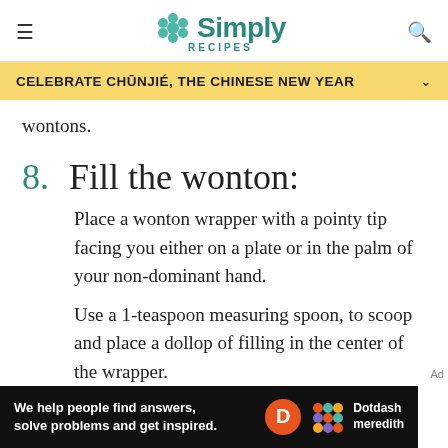Simply Recipes
CELEBRATE CHŪNJIÉ, THE CHINESE NEW YEAR
wontons.
8. Fill the wonton:
Place a wonton wrapper with a pointy tip facing you either on a plate or in the palm of your non-dominant hand.
Use a 1-teaspoon measuring spoon, to scoop and place a dollop of filling in the center of the wrapper.
[Figure (screenshot): Dotdash Meredith advertisement banner: 'We help people find answers, solve problems and get inspired.' with Dotdash Meredith logo]